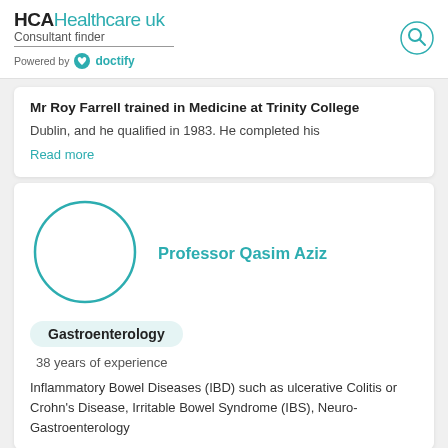HCAHealthcare uk Consultant finder Powered by doctify
Mr Roy Farrell trained in Medicine at Trinity College Dublin, and he qualified in 1983. He completed his Read more
[Figure (illustration): Circular placeholder avatar image with teal outline for Professor Qasim Aziz]
Professor Qasim Aziz
Gastroenterology
38 years of experience
Inflammatory Bowel Diseases (IBD) such as ulcerative Colitis or Crohn's Disease, Irritable Bowel Syndrome (IBS), Neuro-Gastroenterology